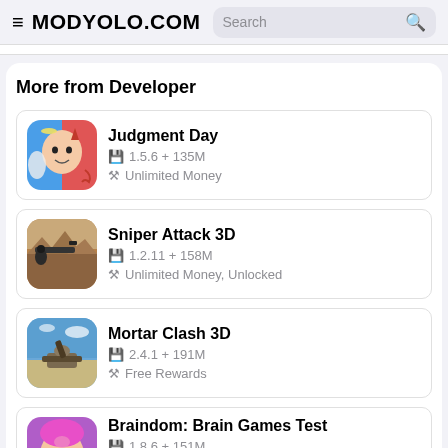≡ MODYOLO.COM  Search 🔍
More from Developer
Judgment Day
1.5.6 + 135M
Unlimited Money
Sniper Attack 3D
1.2.11 + 158M
Unlimited Money, Unlocked
Mortar Clash 3D
2.4.1 + 191M
Free Rewards
Braindom: Brain Games Test
1.8.6 + 151M